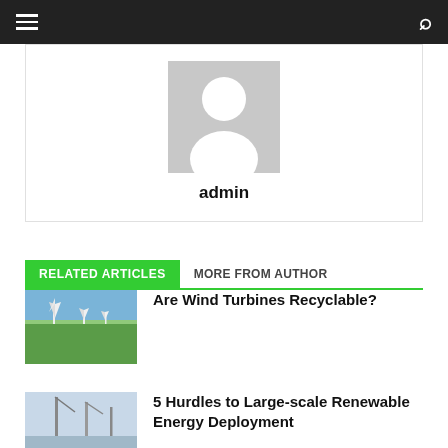≡  🔍
[Figure (illustration): Default user avatar silhouette on gray background]
admin
RELATED ARTICLES   MORE FROM AUTHOR
[Figure (photo): Wind turbines in a green field under blue sky]
Are Wind Turbines Recyclable?
[Figure (photo): Wind turbines under construction against a light sky]
5 Hurdles to Large-scale Renewable Energy Deployment